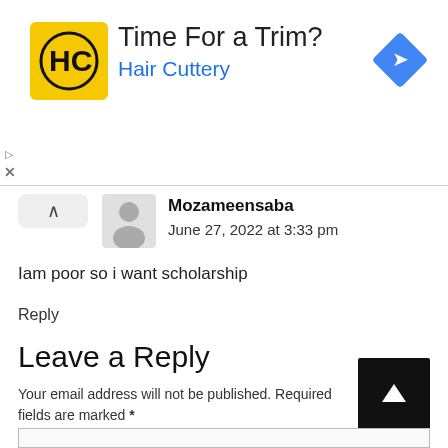[Figure (advertisement): Hair Cuttery ad banner with yellow logo (HC initials), text 'Time For a Trim?' and 'Hair Cuttery' in blue, and a blue diamond navigation icon on the right.]
Mozameensaba
June 27, 2022 at 3:33 pm
Iam poor so i want scholarship
Reply
Leave a Reply
Your email address will not be published. Required fields are marked *
Comment *